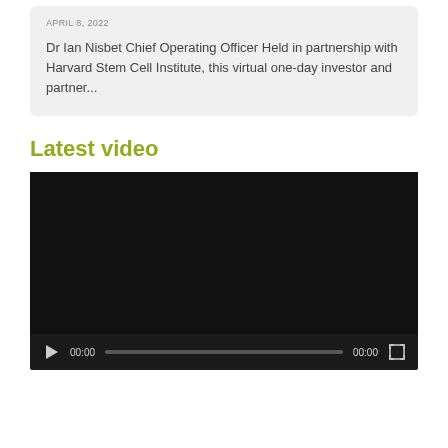APRIL 8, 2022
Dr Ian Nisbet Chief Operating Officer Held in partnership with Harvard Stem Cell Institute, this virtual one-day investor and partner...
Latest video
[Figure (other): Video player with black screen, play button, time code 00:00, progress bar, end time 00:00, and fullscreen button]